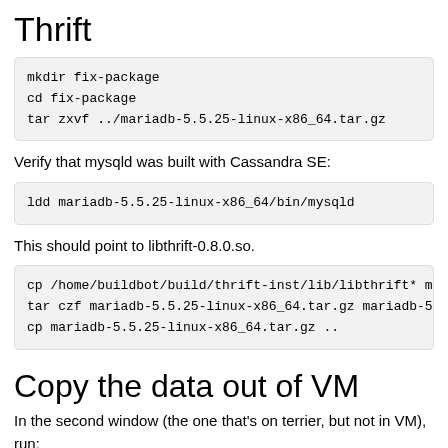Thrift
[Figure (screenshot): Code block: mkdir fix-package
cd fix-package
tar zxvf ../mariadb-5.5.25-linux-x86_64.tar.gz]
Verify that mysqld was built with Cassandra SE:
[Figure (screenshot): Code block: ldd mariadb-5.5.25-linux-x86_64/bin/mysqld]
This should point to libthrift-0.8.0.so.
[Figure (screenshot): Code block: cp /home/buildbot/build/thrift-inst/lib/libthrift* ma
tar czf mariadb-5.5.25-linux-x86_64.tar.gz mariadb-5.
cp mariadb-5.5.25-linux-x86_64.tar.gz ..]
Copy the data out of VM
In the second window (the one that's on terrier, but not in VM), run: